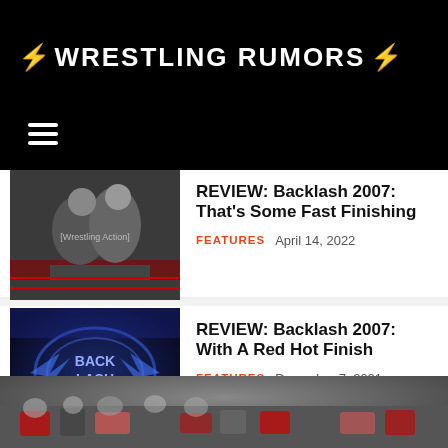⚡ WRESTLING RUMORS ⚡
REVIEW: Backlash 2007: That's Some Fast Finishing
FEATURES  April 14, 2022
REVIEW: Backlash 2007: With A Red Hot Finish
FEATURES  December 7, 2021
[Figure (photo): Wrestling match action photo showing two wrestlers grappling in a ring]
[Figure (photo): Backlash 2007 event logo with blue metallic design]
[Figure (photo): Crowd/event photo at bottom of page, partially visible]